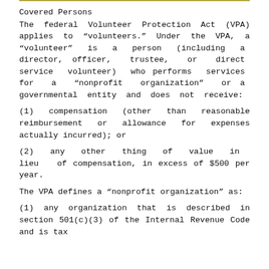Covered Persons
The federal Volunteer Protection Act (VPA) applies to “volunteers.” Under the VPA, a “volunteer” is a person (including a director, officer, trustee, or direct service volunteer) who performs services for a “nonprofit organization” or a governmental entity and does not receive:
(1)  compensation (other than reasonable reimbursement or allowance for expenses actually incurred); or
(2)  any other thing of value in lieu of compensation, in excess of $500 per year.
The VPA defines a “nonprofit organization” as:
(1) any organization that is described in section 501(c)(3) of the Internal Revenue Code and is tax